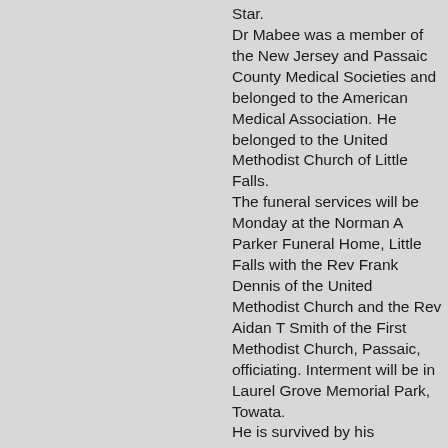Star. Dr Mabee was a member of the New Jersey and Passaic County Medical Societies and belonged to the American Medical Association. He belonged to the United Methodist Church of Little Falls. The funeral services will be Monday at the Norman A Parker Funeral Home, Little Falls with the Rev Frank Dennis of the United Methodist Church and the Rev Aidan T Smith of the First Methodist Church, Passaic, officiating. Interment will be in Laurel Grove Memorial Park, Towata. He is survived by his